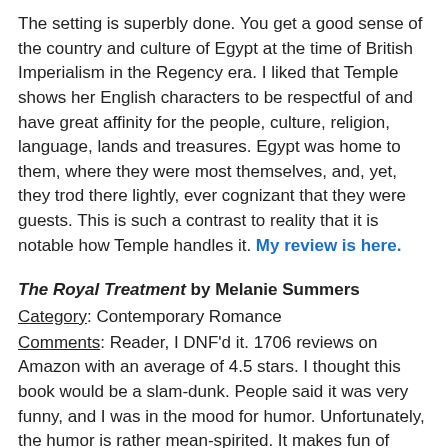The setting is superbly done. You get a good sense of the country and culture of Egypt at the time of British Imperialism in the Regency era. I liked that Temple shows her English characters to be respectful of and have great affinity for the people, culture, religion, language, lands and treasures. Egypt was home to them, where they were most themselves, and, yet, they trod there lightly, ever cognizant that they were guests. This is such a contrast to reality that it is notable how Temple handles it. My review is here.
The Royal Treatment by Melanie Summers
Category: Contemporary Romance
Comments: Reader, I DNF'd it. 1706 reviews on Amazon with an average of 4.5 stars. I thought this book would be a slam-dunk. People said it was very funny, and I was in the mood for humor. Unfortunately, the humor is rather mean-spirited. It makes fun of people and is homophobic, misogynist, and laughs at childbirth. I laughed exactly once, but kept hoping it would improve, till I finally gave up at 20%. Definitely not for me.
The premise is delicious: Passionate blogger hates the